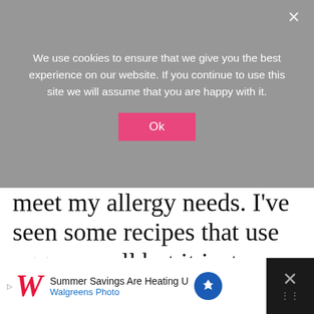We use cookies to ensure that we give you the best experience on our website. If you continue to use this site we will assume that you are happy with it.
Ok
meet my allergy needs. I've seen some recipes that use eggs as well but it just seems really unnecessary since you get the same sugary coating without them.
[Figure (photo): Partial photo of food items, appears to show candy or cupcakes with striped and pink colors]
Summer Savings Are Heating U Walgreens Photo